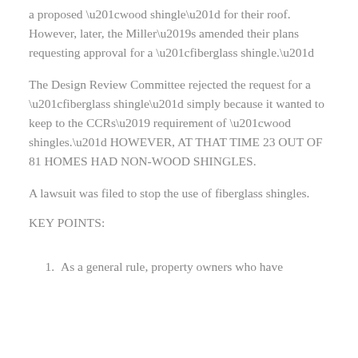a proposed “wood shingle” for their roof.  However, later, the Miller’s amended their plans requesting approval for a “fiberglass shingle.”
The Design Review Committee rejected the request for a “fiberglass shingle” simply because it wanted to keep to the CCRs’ requirement of “wood shingles.” HOWEVER, AT THAT TIME 23 OUT OF 81 HOMES HAD NON-WOOD SHINGLES.
A lawsuit was filed to stop the use of fiberglass shingles.
KEY POINTS:
1.  As a general rule, property owners who have